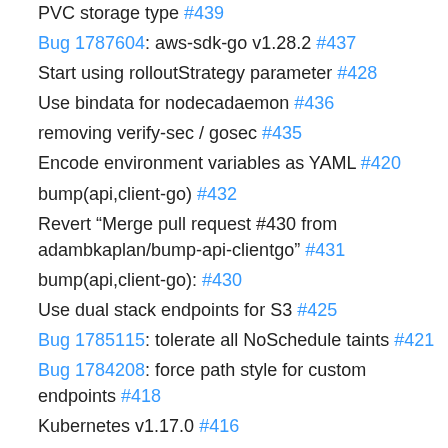PVC storage type #439
Bug 1787604: aws-sdk-go v1.28.2 #437
Start using rolloutStrategy parameter #428
Use bindata for nodecadaemon #436
removing verify-sec / gosec #435
Encode environment variables as YAML #420
bump(api,client-go) #432
Revert “Merge pull request #430 from adambkaplan/bump-api-clientgo” #431
bump(api,client-go): #430
Use dual stack endpoints for S3 #425
Bug 1785115: tolerate all NoSchedule taints #421
Bug 1784208: force path style for custom endpoints #418
Kubernetes v1.17.0 #416
Use junit_*.xml pattern for junit reports #419
Bug 1769008: Bumping openshift/api. #417
Bug 1769008: Switch to client-go #415